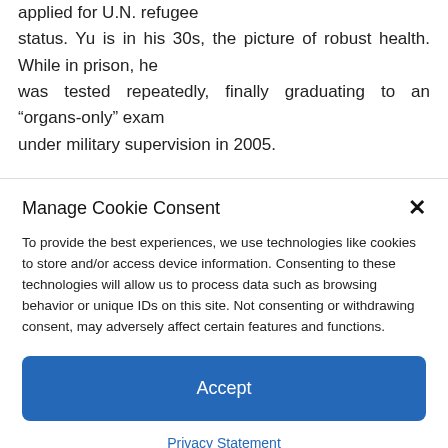applied for U.N. refugee status. Yu is in his 30s, the picture of robust health. While in prison, he was tested repeatedly, finally graduating to an “organs-only” exam under military supervision in 2005.
Manage Cookie Consent
To provide the best experiences, we use technologies like cookies to store and/or access device information. Consenting to these technologies will allow us to process data such as browsing behavior or unique IDs on this site. Not consenting or withdrawing consent, may adversely affect certain features and functions.
Accept
Privacy Statement